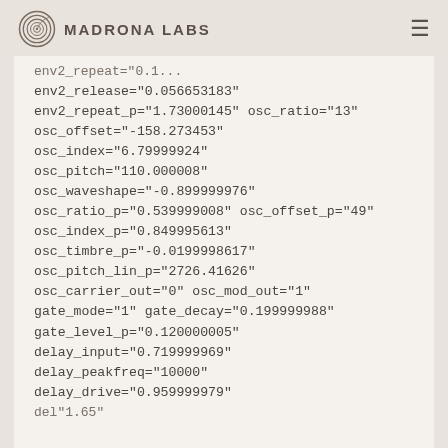Madrona Labs
env2_repeat="0.1..." (truncated top)
env2_release="0.056653183"
env2_repeat_p="1.73000145" osc_ratio="13"
osc_offset="-158.273453"
osc_index="6.79999924"
osc_pitch="110.000008"
osc_waveshape="-0.899999976"
osc_ratio_p="0.539999008" osc_offset_p="49"
osc_index_p="0.849995613"
osc_timbre_p="-0.0199998617"
osc_pitch_lin_p="2726.41626"
osc_carrier_out="0" osc_mod_out="1"
gate_mode="1" gate_decay="0.199999988"
gate_level_p="0.120000005"
delay_input="0.719999969"
delay_peakfreq="10000"
delay_drive="0.959999979"
delay_... (truncated bottom)